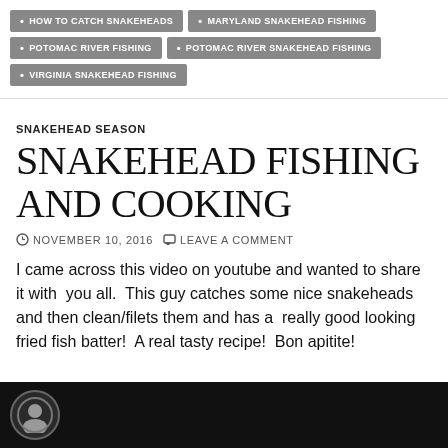HOW TO CATCH SNAKEHEADS
MARYLAND SNAKEHEAD FISHING
POTOMAC RIVER FISHING
POTOMAC RIVER SNAKEHEAD FISHING
VIRGINIA SNAKEHEAD FISHING
SNAKEHEAD SEASON
SNAKEHEAD FISHING AND COOKING
NOVEMBER 10, 2016   LEAVE A COMMENT
I came across this video on youtube and wanted to share it with  you all.  This guy catches some nice snakeheads and then clean/filets them and has a  really good looking fried fish batter!  A real tasty recipe!  Bon apitite!
[Figure (photo): Dark video thumbnail with circular avatar/logo on left side against black background]